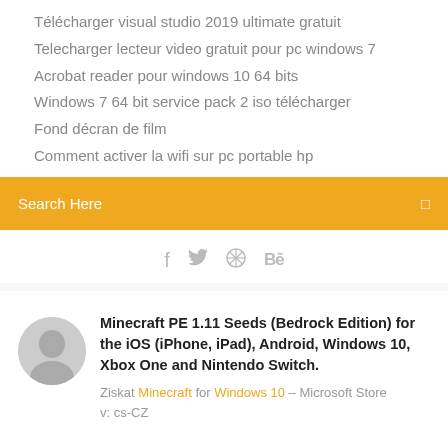Télécharger visual studio 2019 ultimate gratuit
Telecharger lecteur video gratuit pour pc windows 7
Acrobat reader pour windows 10 64 bits
Windows 7 64 bit service pack 2 iso télécharger
Fond décran de film
Comment activer la wifi sur pc portable hp
Search Here
[Figure (infographic): Social media icons: f (Facebook), bird (Twitter), circle with spokes (Dribbble), Be (Behance)]
Minecraft PE 1.11 Seeds (Bedrock Edition) for the iOS (iPhone, iPad), Android, Windows 10, Xbox One and Nintendo Switch.
Ziskat Minecraft for Windows 10 – Microsoft Store
v: cs-CZ